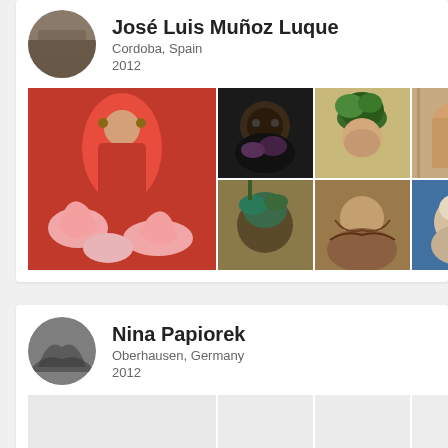Jose Luis Muñoz Luque
Cordoba, Spain
2012
[Figure (photo): Grid of 7 artistic/portrait photos by Jose Luis Muñoz Luque including a large image of a woman in red dress with flamingos, and smaller portraits]
Nina Papiorek
Oberhausen, Germany
2012
[Figure (photo): Partial grid of photos by Nina Papiorek, mostly blank/light colored cells visible at bottom of page]